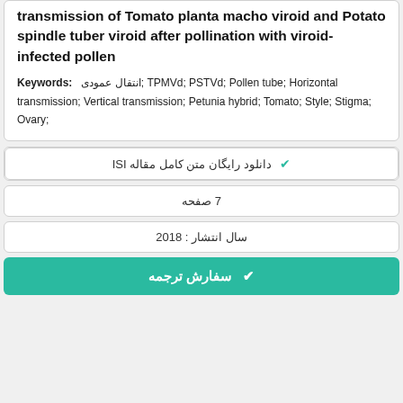transmission of Tomato planta macho viroid and Potato spindle tuber viroid after pollination with viroid-infected pollen
Keywords: انتقال عمودی; TPMVd; PSTVd; Pollen tube; Horizontal transmission; Vertical transmission; Petunia hybrid; Tomato; Style; Stigma; Ovary;
دانلود رایگان متن کامل مقاله ISI
7 صفحه
سال انتشار : 2018
سفارش ترجمه